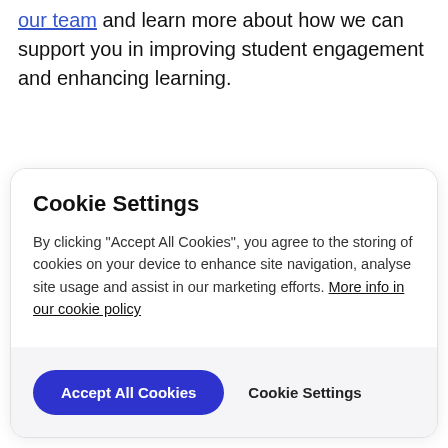our team and learn more about how we can support you in improving student engagement and enhancing learning.
[Figure (screenshot): Cookie Settings modal dialog with title 'Cookie Settings', descriptive text about cookies, a close button (×), and two action buttons: 'Accept All Cookies' (blue rounded) and 'Cookie Settings' (text button) on a light grey footer.]